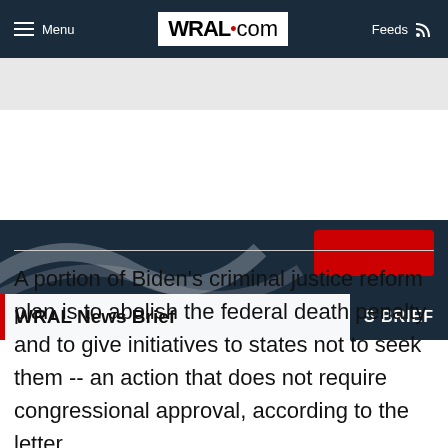Menu | WRAL.com | Feeds
[Figure (screenshot): WRAL News Brief banner with dark navy background, decorative curved lines on left, red button on right, and 'WRAL News Brief' label at bottom with red vertical bar and 'S BRIEF' text overlay on right]
A portion of Biden's criminal justice reform plan is to abolish the federal death penalty and to give initiatives to states not to seek them -- an action that does not require congressional approval, according to the letter.